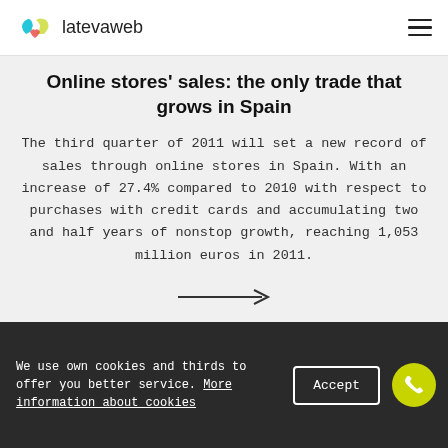latevaweb
Online stores' sales: the only trade that grows in Spain
The third quarter of 2011 will set a new record of sales through online stores in Spain. With an increase of 27.4% compared to 2010 with respect to purchases with credit cards and accumulating two and half years of nonstop growth, reaching 1,053 million euros in 2011.
We use own cookies and thirds to offer you better service. More information about cookies